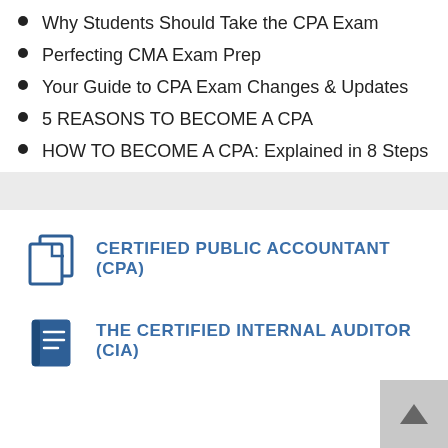Why Students Should Take the CPA Exam
Perfecting CMA Exam Prep
Your Guide to CPA Exam Changes & Updates
5 REASONS TO BECOME A CPA
HOW TO BECOME A CPA: Explained in 8 Steps
[Figure (illustration): Documents/pages icon in dark blue]
CERTIFIED PUBLIC ACCOUNTANT (CPA)
[Figure (illustration): Book icon in dark blue]
THE CERTIFIED INTERNAL AUDITOR (CIA)